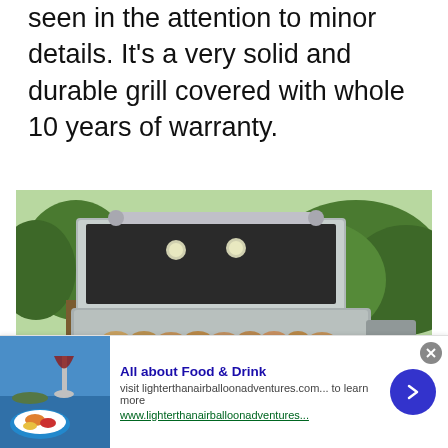great quality of workmanship, which can be seen in the attention to minor details. It's a very solid and durable grill covered with whole 10 years of warranty.
[Figure (photo): An open outdoor gas grill with food cooking on the grates and warming rack, set in a garden with green grass and trees in the background.]
All about Food & Drink — visit lighterthanairballoonadventures.com... to learn more. www.lighterthanairballoonadventures...